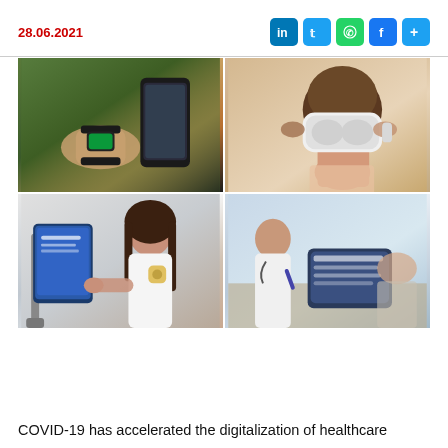28.06.2021
[Figure (photo): 2x2 grid of healthcare technology photos: top-left shows a wrist with a fitness tracker and a smartphone; top-right shows a woman wearing a VR headset being assisted; bottom-left shows a woman with a sensor patch using a tablet kiosk; bottom-right shows a doctor using a tablet with a patient.]
COVID-19 has accelerated the digitalization of healthcare